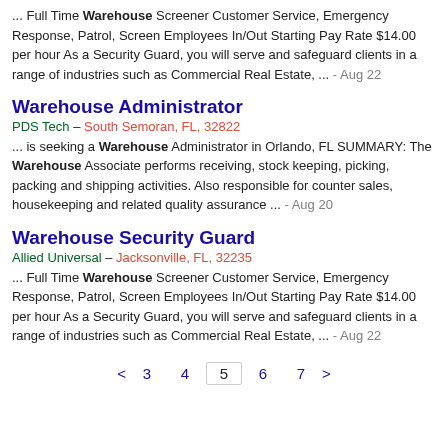... Full Time Warehouse Screener Customer Service, Emergency Response, Patrol, Screen Employees In/Out Starting Pay Rate $14.00 per hour As a Security Guard, you will serve and safeguard clients in a range of industries such as Commercial Real Estate, ... - Aug 22
Warehouse Administrator
PDS Tech  –  South Semoran, FL, 32822
... is seeking a Warehouse Administrator in Orlando, FL SUMMARY: The Warehouse Associate performs receiving, stock keeping, picking, packing and shipping activities. Also responsible for counter sales, housekeeping and related quality assurance ... - Aug 20
Warehouse Security Guard
Allied Universal  –  Jacksonville, FL, 32235
... Full Time Warehouse Screener Customer Service, Emergency Response, Patrol, Screen Employees In/Out Starting Pay Rate $14.00 per hour As a Security Guard, you will serve and safeguard clients in a range of industries such as Commercial Real Estate, ... - Aug 22
< 3 4 5 6 7 >